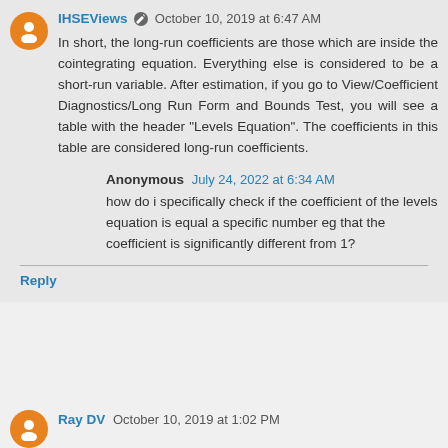IHSEViews  October 10, 2019 at 6:47 AM
In short, the long-run coefficients are those which are inside the cointegrating equation. Everything else is considered to be a short-run variable. After estimation, if you go to View/Coefficient Diagnostics/Long Run Form and Bounds Test, you will see a table with the header "Levels Equation". The coefficients in this table are considered long-run coefficients.
Anonymous  July 24, 2022 at 6:34 AM
how do i specifically check if the coefficient of the levels equation is equal a specific number eg that the coefficient is significantly different from 1?
Reply
Ray DV  October 10, 2019 at 1:02 PM